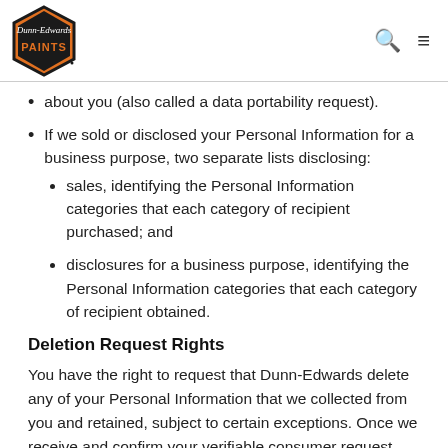Dunn-Edwards PAINTS [logo]
about you (also called a data portability request).
If we sold or disclosed your Personal Information for a business purpose, two separate lists disclosing:
sales, identifying the Personal Information categories that each category of recipient purchased; and
disclosures for a business purpose, identifying the Personal Information categories that each category of recipient obtained.
Deletion Request Rights
You have the right to request that Dunn-Edwards delete any of your Personal Information that we collected from you and retained, subject to certain exceptions. Once we receive and confirm your verifiable consumer request (see Exercising Access, Data Portability, and Deletion Rights), we will